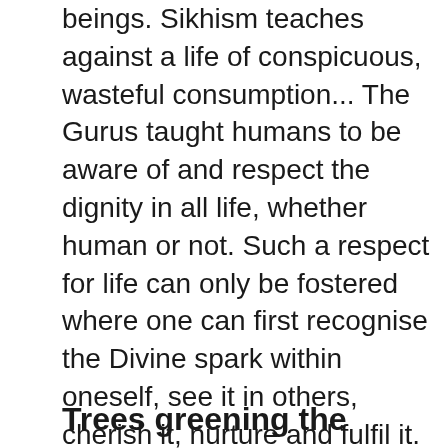beings. Sikhism teaches against a life of conspicuous, wasteful consumption... The Gurus taught humans to be aware of and respect the dignity in all life, whether human or not. Such a respect for life can only be fostered where one can first recognise the Divine spark within oneself, see it in others, cherish it, nurture and fulfil it. — “Environmental Theology in Sikhism,” www.ecosikh.org
Trees greening the